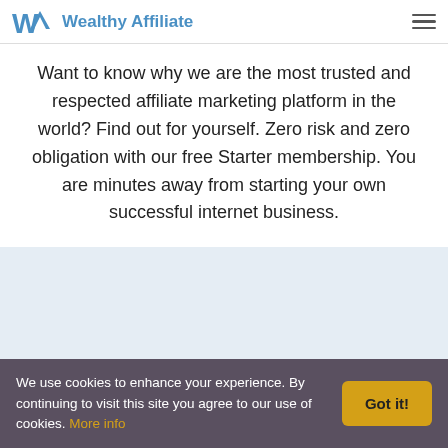Wealthy Affiliate
Want to know why we are the most trusted and respected affiliate marketing platform in the world? Find out for yourself. Zero risk and zero obligation with our free Starter membership. You are minutes away from starting your own successful internet business.
What Are You Waiting For?
We use cookies to enhance your experience. By continuing to visit this site you agree to our use of cookies. More info